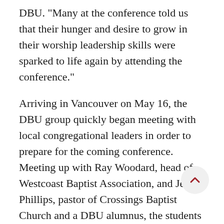DBU. "Many at the conference told us that their hunger and desire to grow in their worship leadership skills were sparked to life again by attending the conference."
Arriving in Vancouver on May 16, the DBU group quickly began meeting with local congregational leaders in order to prepare for the coming conference. Meeting up with Ray Woodard, head of Westcoast Baptist Association, and Jeff Phillips, pastor of Crossings Baptist Church and a DBU alumnus, the students began to understand the spiritual state of Vancouver. The group was informed that 47% of the population of Vancouver associated themselves as irreligious.
"People here do not recognize their desperate